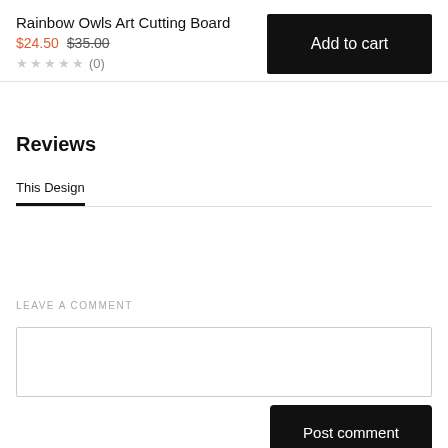Rainbow Owls Art Cutting Board
$24.50 $35.00
★★★★★ (0)
Add to cart
Reviews
This Design
LEAVE A COMMENT
Post comment